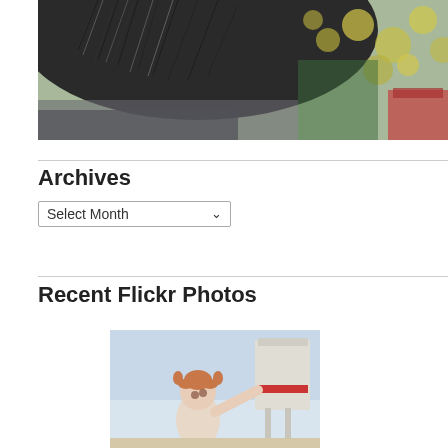[Figure (photo): Close-up cropped photo of a person's head (top of head with dark/grey hair) with blurred bokeh Christmas lights and decorations in the background]
Archives
[Figure (screenshot): A dropdown/select widget showing 'Select Month' with a downward chevron arrow]
Recent Flickr Photos
[Figure (photo): Photo of a young toddler girl with pigtails looking up, standing near what appears to be a lifeguard chair at a beach, light sky background]